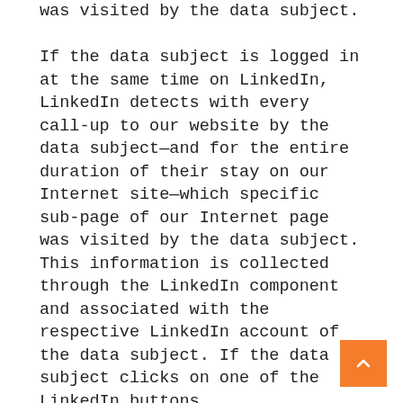was visited by the data subject.

If the data subject is logged in at the same time on LinkedIn, LinkedIn detects with every call-up to our website by the data subject—and for the entire duration of their stay on our Internet site—which specific sub-page of our Internet page was visited by the data subject. This information is collected through the LinkedIn component and associated with the respective LinkedIn account of the data subject. If the data subject clicks on one of the LinkedIn buttons